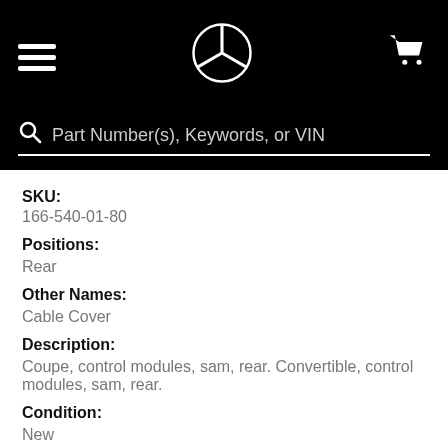Mercedes-Benz parts site header with hamburger menu, Mercedes-Benz logo, and cart icon
Part Number(s), Keywords, or VIN
SKU:
166-540-01-80
Positions:
Rear
Other Names:
Cable Cover
Description:
Coupe, control modules, sam, rear. Convertible, control modules, sam, rear.
Condition:
New
Sold In Quantity: